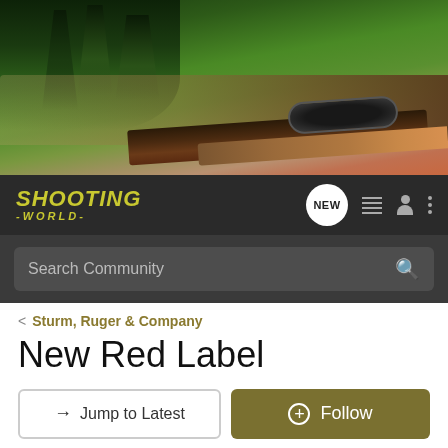[Figure (photo): Banner photo of a rifle with scope in a mountainous forested landscape]
SHOOTING WORLD
Search Community
< Sturm, Ruger & Company
New Red Label
→ Jump to Latest
+ Follow
1 - 3 of 3 Posts
daddywpb · Registered
Joined Dec 1, 2004 · 12 Posts